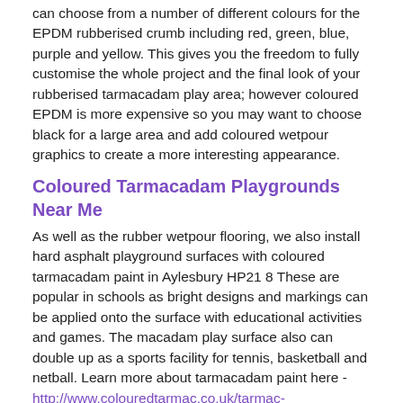can choose from a number of different colours for the EPDM rubberised crumb including red, green, blue, purple and yellow. This gives you the freedom to fully customise the whole project and the final look of your rubberised tarmacadam play area; however coloured EPDM is more expensive so you may want to choose black for a large area and add coloured wetpour graphics to create a more interesting appearance.
Coloured Tarmacadam Playgrounds Near Me
As well as the rubber wetpour flooring, we also install hard asphalt playground surfaces with coloured tarmacadam paint in Aylesbury HP21 8 These are popular in schools as bright designs and markings can be applied onto the surface with educational activities and games. The macadam play surface also can double up as a sports facility for tennis, basketball and netball. Learn more about tarmacadam paint here - http://www.colouredtarmac.co.uk/tarmac-paint/buckinghamshire/aylesbury/ to find out everything you need to know to get the best possible results.
Please fill in our enquiry box to discuss more details about wetpour and tarmacadam playarea surfaces closest to you. One of our local